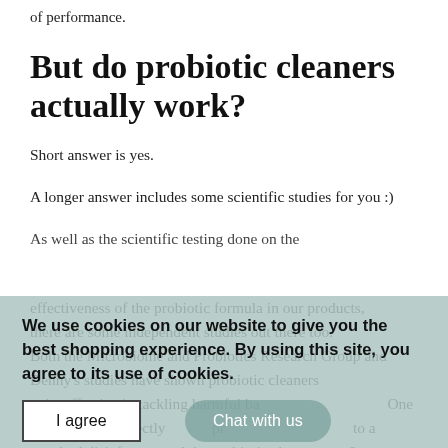of performance.
But do probiotic cleaners actually work?
Short answer is yes.
A longer answer includes some scientific studies for you :)
As well as the scientific testing done on the effectiveness of the probiotic formula in our products, there are some independent studies out there too. Both the Microbiome and Probiotics Research Group and Denny's studies have shown probiotic cleaners to be effective in tackling harmful bacteria. One study in 2020 directly compared a probiotic cleaner to a standard disinfectant and the probiotic cleaner was 6
We use cookies on our website to give you the best shopping experience. By using this site, you agree to its use of cookies.